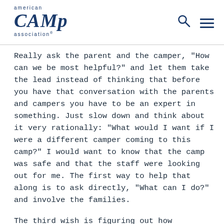American Camp Association
Really ask the parent and the camper, "How can we be most helpful?" and let them take the lead instead of thinking that before you have that conversation with the parents and campers you have to be an expert in something. Just slow down and think about it very rationally: "What would I want if I were a different camper coming to this camp?" I would want to know that the camp was safe and that the staff were looking out for me. The first way to help that along is to ask directly, "What can I do?" and involve the families.
The third wish is figuring out how counselors can help kids distinguish between anxiety and going